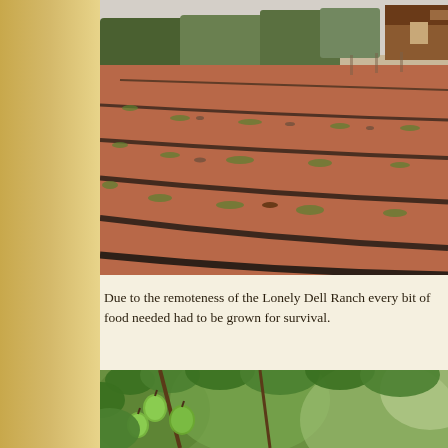[Figure (photo): Aerial/angled view of a plowed agricultural field with rows of dark soil and gravel at Lonely Dell Ranch, with trees and a wooden building visible in the background.]
Due to the remoteness of the Lonely Dell Ranch every bit of food needed had to be grown for survival.
[Figure (photo): Close-up photo of green fruit (apples or similar) hanging on tree branches with green leaves, partially blurred background of greenery.]